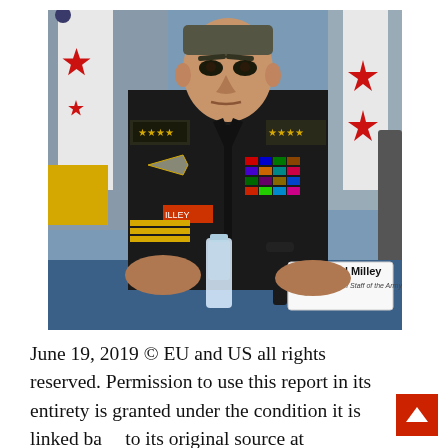[Figure (photo): GEN Milley, Chief of Staff of the Army, seated at a table in military dress uniform with medals and ribbons, behind a name placard reading 'GEN Milley / Chief of Staff of the Army'. Flags visible in background, water bottle on table.]
June 19, 2019 © EU and US all rights reserved. Permission to use this report in its entirety is granted under the condition it is linked back to its original source at WhatDoesItMean.Com.